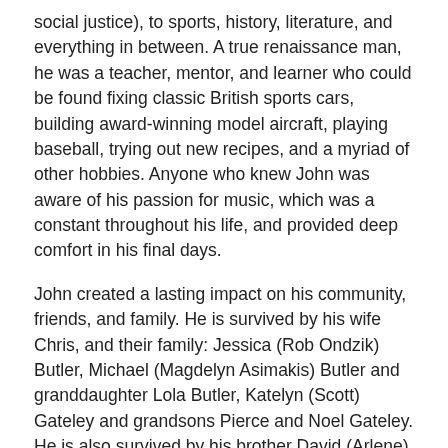social justice), to sports, history, literature, and everything in between. A true renaissance man, he was a teacher, mentor, and learner who could be found fixing classic British sports cars, building award-winning model aircraft, playing baseball, trying out new recipes, and a myriad of other hobbies. Anyone who knew John was aware of his passion for music, which was a constant throughout his life, and provided deep comfort in his final days.
John created a lasting impact on his community, friends, and family. He is survived by his wife Chris, and their family: Jessica (Rob Ondzik) Butler, Michael (Magdelyn Asimakis) Butler and granddaughter Lola Butler, Katelyn (Scott) Gateley and grandsons Pierce and Noel Gateley. He is also survived by his brother David (Arlene) Butler and family, and sister Louise (Frank) Gyrlevich and family. He was predeceased by his parents Arthur 'Art' and Helena Butler, father-in-law Gerard Warkentin and sister-in-law Jean Warkentin.